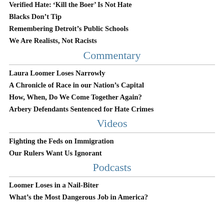Verified Hate: 'Kill the Boer' Is Not Hate
Blacks Don’t Tip
Remembering Detroit’s Public Schools
We Are Realists, Not Racists
Commentary
Laura Loomer Loses Narrowly
A Chronicle of Race in our Nation’s Capital
How, When, Do We Come Together Again?
Arbery Defendants Sentenced for Hate Crimes
Videos
Fighting the Feds on Immigration
Our Rulers Want Us Ignorant
Podcasts
Loomer Loses in a Nail-Biter
What’s the Most Dangerous Job in America?